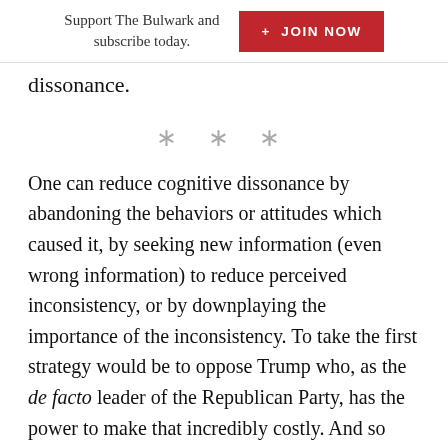Support The Bulwark and subscribe today.  + JOIN NOW
dissonance.
* * *
One can reduce cognitive dissonance by abandoning the behaviors or attitudes which caused it, by seeking new information (even wrong information) to reduce perceived inconsistency, or by downplaying the importance of the inconsistency. To take the first strategy would be to oppose Trump who, as the de facto leader of the Republican Party, has the power to make that incredibly costly. And so many of Amash's